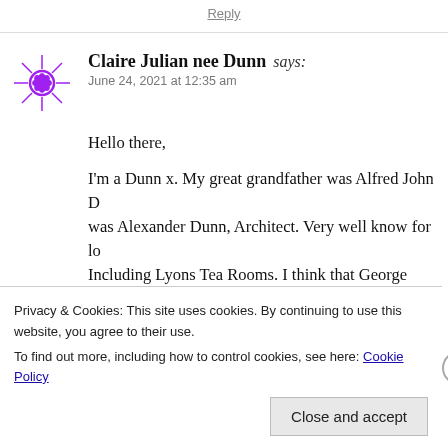Reply
Claire Julian nee Dunn says:
June 24, 2021 at 12:35 am
Hello there,
I'm a Dunn x. My great grandfather was Alfred John D... was Alexander Dunn, Architect. Very well know for lo... Including Lyons Tea Rooms. I think that George Arthu... & Co in Gloucester. Next door to the buildings that my... their building as well. Alfred studied in Bournville. Fa... Cheltenham. They married into the Loud family and ov...
Privacy & Cookies: This site uses cookies. By continuing to use this website, you agree to their use.
To find out more, including how to control cookies, see here: Cookie Policy